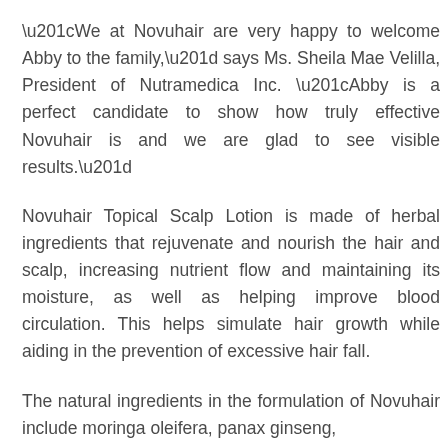“We at Novuhair are very happy to welcome Abby to the family,” says Ms. Sheila Mae Velilla, President of Nutramedica Inc. “Abby is a perfect candidate to show how truly effective Novuhair is and we are glad to see visible results.”
Novuhair Topical Scalp Lotion is made of herbal ingredients that rejuvenate and nourish the hair and scalp, increasing nutrient flow and maintaining its moisture, as well as helping improve blood circulation. This helps simulate hair growth while aiding in the prevention of excessive hair fall.
The natural ingredients in the formulation of Novuhair include moringa oleifera, panax ginseng,